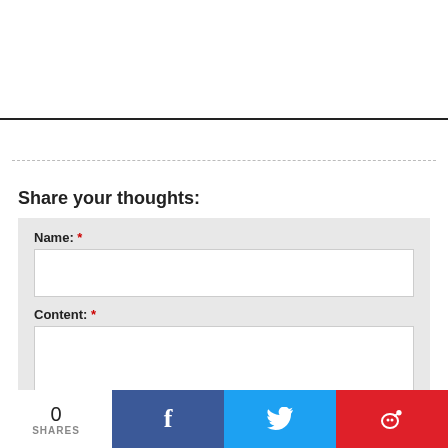Share your thoughts:
Name: *
Content: *
Email:
0
SHARES